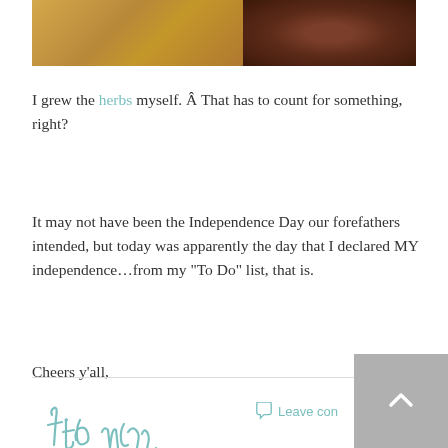[Figure (photo): Top portion of a food photograph showing a plate with scrambled eggs or mac and cheese on the left and a cooked steak on the right, cropped at the top]
I grew the herbs myself. Â That has to count for something, right?
It may not have been the Independence Day our forefathers intended, but today was apparently the day that I declared MY independence…from my “To Do” list, that is.
Cheers y’all,
[Figure (illustration): Handwritten cursive signature reading 'the mrs.' in a teal/sage green color]
Leave comment